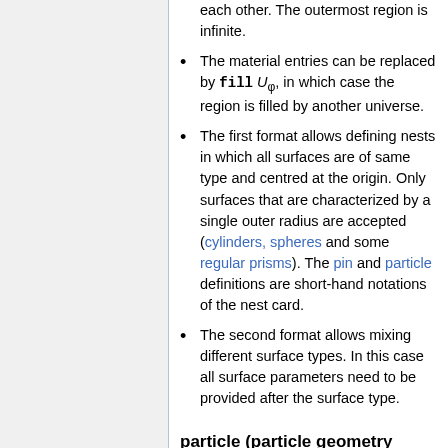each other. The outermost region is infinite.
The material entries can be replaced by fill U_0, in which case the region is filled by another universe.
The first format allows defining nests in which all surfaces are of same type and centred at the origin. Only surfaces that are characterized by a single outer radius are accepted (cylinders, spheres and some regular prisms). The pin and particle definitions are short-hand notations of the nest card.
The second format allows mixing different surface types. In this case all surface parameters need to be provided after the surface type.
particle (particle geometry